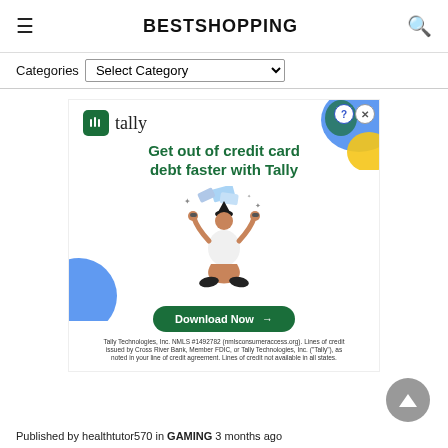BESTSHOPPING
Categories  Select Category
[Figure (advertisement): Tally credit card debt app advertisement. Shows Tally logo, headline 'Get out of credit card debt faster with Tally', illustrated person juggling credit cards, 'Download Now' button, and fine print about Tally Technologies Inc.]
Published by healthtutor570 in GAMING 3 months ago